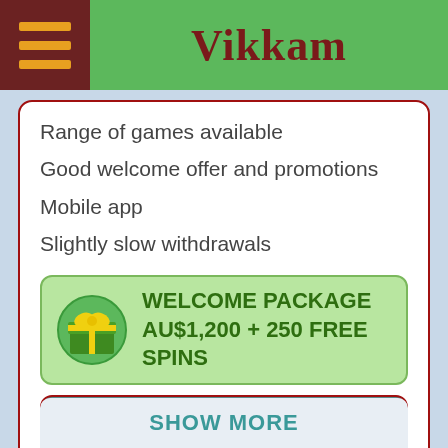Vikkam
Range of games available
Good welcome offer and promotions
Mobile app
Slightly slow withdrawals
WELCOME PACKAGE AU$1,200 + 250 FREE SPINS
GET BONUS
Go to Cashiopeia casino
CASHIOPEIA REVIEW
SHOW MORE